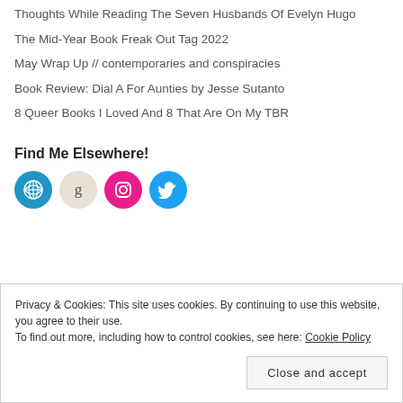Thoughts While Reading The Seven Husbands Of Evelyn Hugo
The Mid-Year Book Freak Out Tag 2022
May Wrap Up // contemporaries and conspiracies
Book Review: Dial A For Aunties by Jesse Sutanto
8 Queer Books I Loved And 8 That Are On My TBR
Find Me Elsewhere!
[Figure (infographic): Four social media icon circles: WordPress (blue), Goodreads (beige), Instagram (pink/magenta), Twitter (blue)]
Privacy & Cookies: This site uses cookies. By continuing to use this website, you agree to their use.
To find out more, including how to control cookies, see here: Cookie Policy
Close and accept